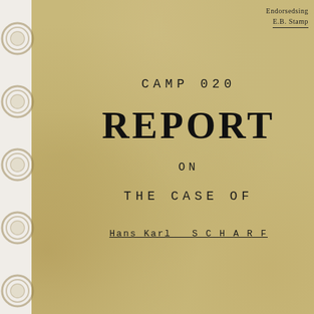[Figure (other): Handwritten signature and annotation in ink at top right corner of document cover. Text reads 'Endorsedusing' and 'E.B. Stamp' with underline.]
CAMP 020
REPORT
ON
THE CASE OF
Hans Karl  S C H A R F